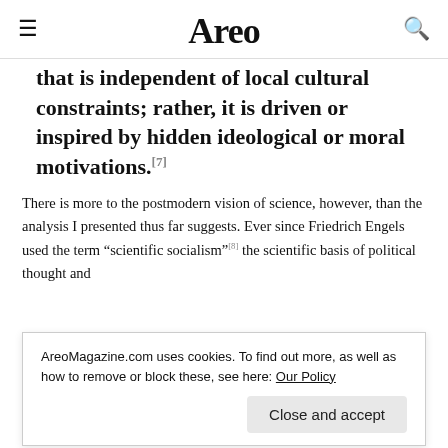Areo
that is independent of local cultural constraints; rather, it is driven or inspired by hidden ideological or moral motivations.[7]
There is more to the postmodern vision of science, however, than the analysis I presented thus far suggests. Ever since Friedrich Engels used the term “scientific socialism”[8] the scientific basis of political thought and science’s traditional purpose was the impartial pursuit of
AreoMagazine.com uses cookies. To find out more, as well as how to remove or block these, see here: Our Policy
Close and accept